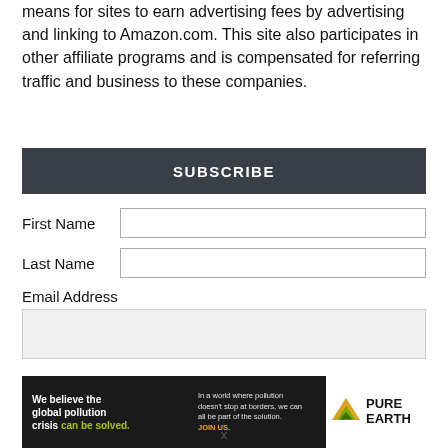means for sites to earn advertising fees by advertising and linking to Amazon.com. This site also participates in other affiliate programs and is compensated for referring traffic and business to these companies.
SUBSCRIBE
First Name
Last Name
Email Address
[Figure (infographic): Pure Earth advertisement banner: 'We believe the global pollution crisis can be solved. In a world where pollution doesn't stop at borders, we can all be part of the solution. JOIN US.' with Pure Earth logo.]
x